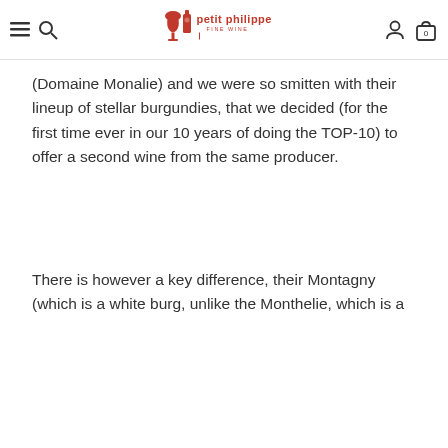petit philippe fine wine
(Domaine Monalie) and we were so smitten with their lineup of stellar burgundies, that we decided (for the first time ever in our 10 years of doing the TOP-10) to offer a second wine from the same producer.
There is however a key difference, their Montagny (which is a white burg, unlike the Monthelie, which is a